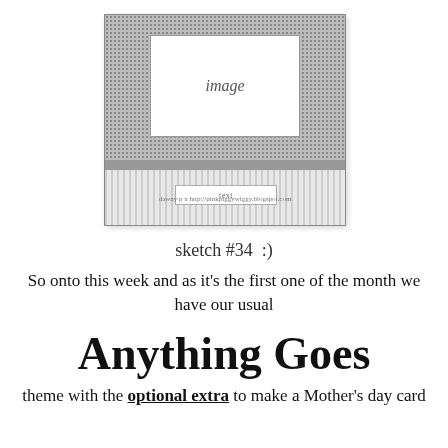[Figure (illustration): Card layout sketch diagram showing a card with a dotted/stippled top area containing a white 'image' box, a gray horizontal band, a striped bottom section with a 'text' label box, and a credit line reading 'dawny p x http://pinkpiggywiggy.blogspot.com']
sketch #34  :)
So onto this week and as it's the first one of the month we have our usual
Anything Goes
theme with the optional extra to make a Mother's day card